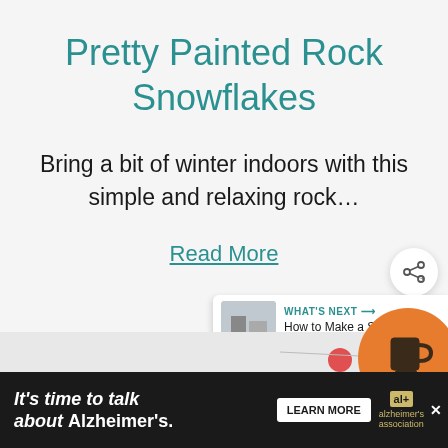Pretty Painted Rock Snowflakes
Bring a bit of winter indoors with this simple and relaxing rock…
Read More
[Figure (screenshot): Share button icon (circle with share symbol)]
[Figure (screenshot): What's Next panel with thumbnail image and text: 'How to Make a Slipcover fo...']
[Figure (screenshot): Partial image at bottom of page]
[Figure (screenshot): Orange circle with coffee mug icon]
It's time to talk about Alzheimer's.  LEARN MORE  alzheimer's association  [close]